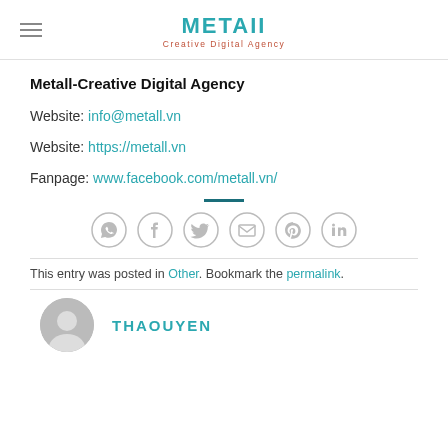METAII Creative Digital Agency
Metall-Creative Digital Agency
Website: info@metall.vn
Website: https://metall.vn
Fanpage: www.facebook.com/metall.vn/
[Figure (infographic): Social media share icons: WhatsApp, Facebook, Twitter, Email, Pinterest, LinkedIn — all in light grey circle outlines]
This entry was posted in Other. Bookmark the permalink.
THAOUYEN